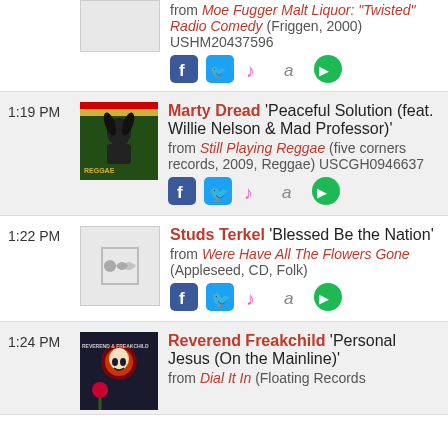from Moe Fugger Malt Liquor: "Twisted" Radio Comedy (Friggen, 2000) USHM20437596
1:19 PM — Marty Dread 'Peaceful Solution (feat. Willie Nelson & Mad Professor)' from Still Playing Reggae (five corners records, 2009, Reggae) USCGH0946637
1:22 PM — Studs Terkel 'Blessed Be the Nation' from Were Have All The Flowers Gone (Appleseed, CD, Folk)
1:24 PM — Reverend Freakchild 'Personal Jesus (On the Mainline)' from Dial It In (Floating Records